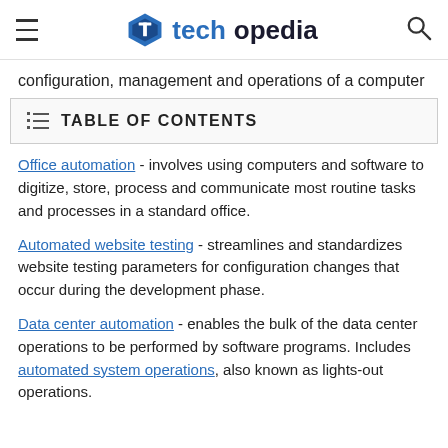techopedia
configuration, management and operations of a computer
TABLE OF CONTENTS
Office automation - involves using computers and software to digitize, store, process and communicate most routine tasks and processes in a standard office.
Automated website testing - streamlines and standardizes website testing parameters for configuration changes that occur during the development phase.
Data center automation - enables the bulk of the data center operations to be performed by software programs. Includes automated system operations, also known as lights-out operations.